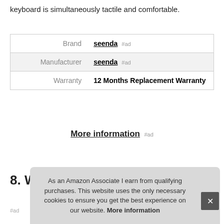keyboard is simultaneously tactile and comfortable.
|  |  |
| --- | --- |
| Brand | seenda #ad |
| Manufacturer | seenda #ad |
| Warranty | 12 Months Replacement Warranty |
More information #ad
8. WieFox
#ad
As an Amazon Associate I earn from qualifying purchases. This website uses the only necessary cookies to ensure you get the best experience on our website. More information